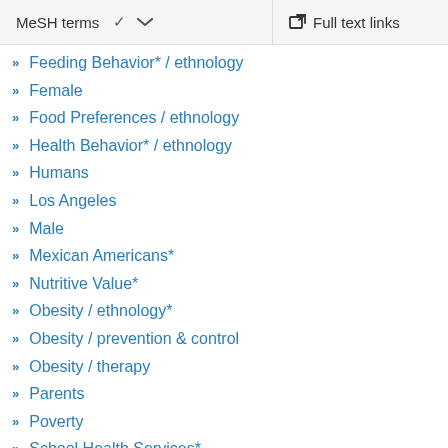MeSH terms  ∨    Full text links
Feeding Behavior* / ethnology
Female
Food Preferences / ethnology
Health Behavior* / ethnology
Humans
Los Angeles
Male
Mexican Americans*
Nutritive Value*
Obesity / ethnology*
Obesity / prevention & control
Obesity / therapy
Parents
Poverty
School Health Services*
Self Efficacy*
Vulnerable Populations*